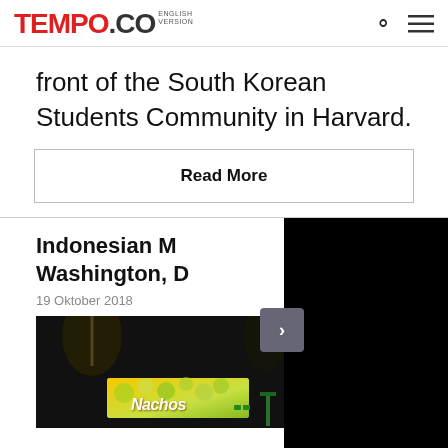TEMPO.CO ENGLISH VERSION
front of the South Korean Students Community in Harvard.
Read More
Indonesian M... Washington, D...
19 Oktober 2018
[Figure (screenshot): Dark cinema/theater interior with a Nachos advertisement displayed on screen, overlaid by a black video panel with a navigation arrow.]